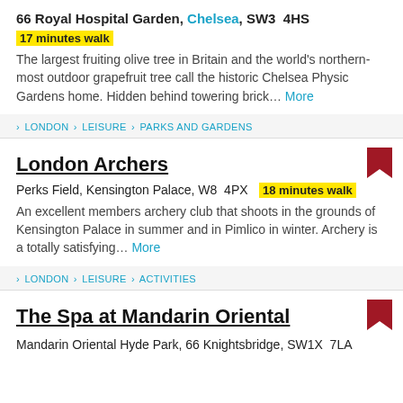66 Royal Hospital Garden, Chelsea, SW3 4HS
17 minutes walk
The largest fruiting olive tree in Britain and the world's northern-most outdoor grapefruit tree call the historic Chelsea Physic Gardens home. Hidden behind towering brick... More
> LONDON > LEISURE > PARKS AND GARDENS
London Archers
Perks Field, Kensington Palace, W8 4PX  18 minutes walk
An excellent members archery club that shoots in the grounds of Kensington Palace in summer and in Pimlico in winter. Archery is a totally satisfying... More
> LONDON > LEISURE > ACTIVITIES
The Spa at Mandarin Oriental
Mandarin Oriental Hyde Park, 66 Knightsbridge, SW1X 7LA